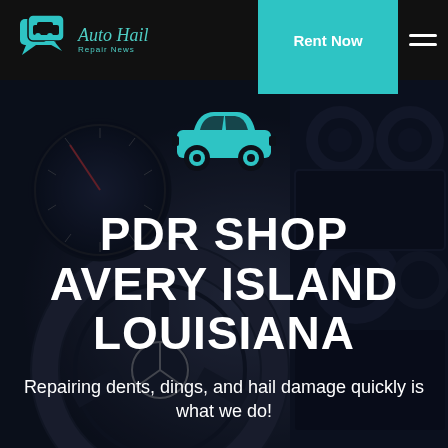Auto Hail Repair News | Rent Now
[Figure (illustration): Car dashboard interior background photo, dark toned, showing steering wheel, gauges and infotainment system]
[Figure (illustration): Teal/cyan car icon (simple flat car silhouette viewed from side)]
PDR SHOP AVERY ISLAND LOUISIANA
Repairing dents, dings, and hail damage quickly is what we do!